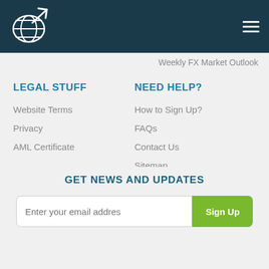[Figure (logo): Globe with upward arrow logo on dark teal navigation bar]
Weekly FX Market Outlook
LEGAL STUFF
Website Terms
Privacy
AML Certificate
NEED HELP?
How to Sign Up?
FAQs
Contact Us
Sitemap
Accessibility Statement
GET NEWS AND UPDATES